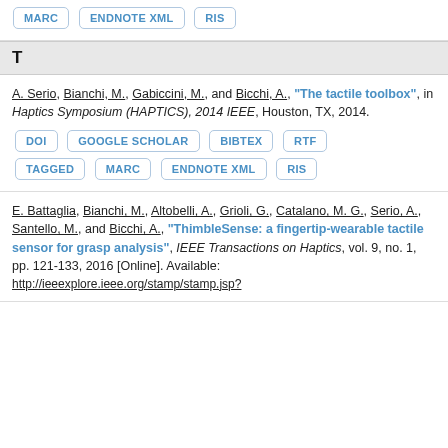MARC  ENDNOTE XML  RIS (button row at top)
T
A. Serio, Bianchi, M., Gabiccini, M., and Bicchi, A., "The tactile toolbox", in Haptics Symposium (HAPTICS), 2014 IEEE, Houston, TX, 2014.
DOI  GOOGLE SCHOLAR  BIBTEX  RTF  TAGGED  MARC  ENDNOTE XML  RIS
E. Battaglia, Bianchi, M., Altobelli, A., Grioli, G., Catalano, M. G., Serio, A., Santello, M., and Bicchi, A., "ThimbleSense: a fingertip-wearable tactile sensor for grasp analysis", IEEE Transactions on Haptics, vol. 9, no. 1, pp. 121-133, 2016 [Online]. Available: http://ieeexplore.ieee.org/stamp/stamp.jsp?